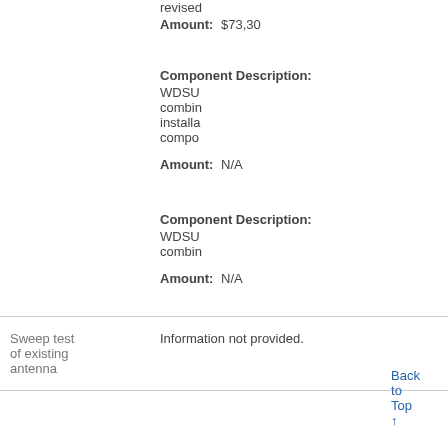|  |  |
| --- | --- |
| Amount: | revised...
$73,30... |
| Component Description: | WDSU combinstallacompo |
| Amount: | N/A |
| Component Description: | WDSU combin |
| Amount: | N/A |
| Sweep test of existing antenna | Information not provided. |
Back to Top ↑